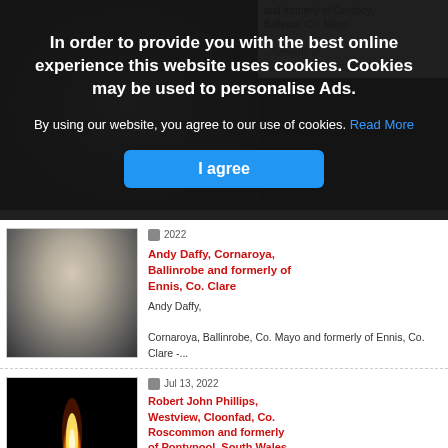[Figure (screenshot): Cookie consent overlay banner on a news/obituary website. Dark semi-transparent overlay with bold white text about cookies policy, 'I agree' blue button, and website content visible underneath showing obituary cards with photos.]
In order to provide you with the best online experience this website uses cookies. Cookies may be used to personalise Ads.
By using our website, you agree to our use of cookies. Read More
I agree
Andy Daffy, Cornaroya, Ballinrobe and formerly of Ennis, Co. Clare
Andy Daffy,
Cornaroya, Ballinrobe, Co. Mayo and formerly of Ennis, Co. Clare -...
Jul 13, 2022
Robert John Phillips, Westview, Cloonfad, Co. Roscommon and formerly of Pontypool, South Wales
Robert John Phillips,